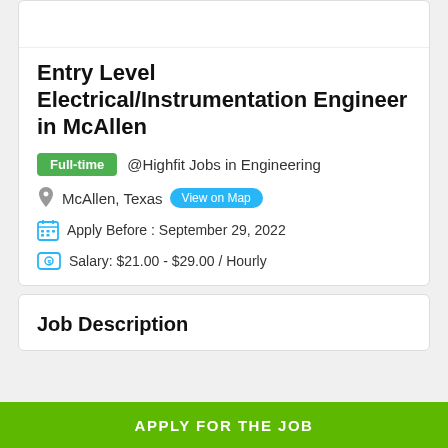[Figure (logo): Partial arc/circle logo at the top of the card, black outline on white background]
Entry Level Electrical/Instrumentation Engineer in McAllen
Full-time  @Highfit Jobs in Engineering
McAllen, Texas  View on Map
Apply Before : September 29, 2022
Salary: $21.00 - $29.00 / Hourly
Job Description
APPLY FOR THE JOB